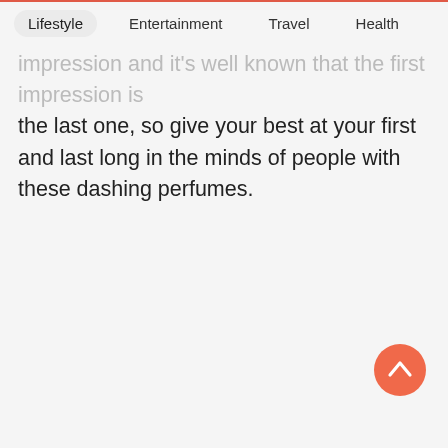Lifestyle  Entertainment  Travel  Health
impression and it's well known that the first impression is the last one, so give your best at your first and last long in the minds of people with these dashing perfumes.
[Figure (other): Orange circular scroll-to-top button with upward chevron arrow]